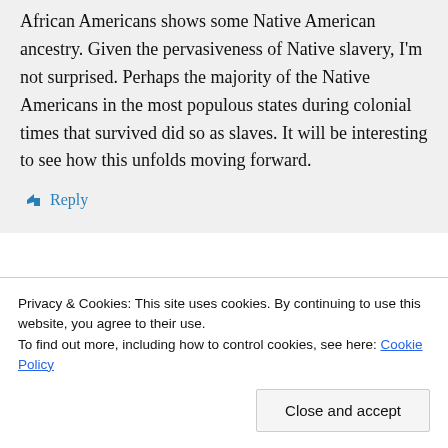African Americans shows some Native American ancestry. Given the pervasiveness of Native slavery, I'm not surprised. Perhaps the majority of the Native Americans in the most populous states during colonial times that survived did so as slaves. It will be interesting to see how this unfolds moving forward.
↳ Reply
Privacy & Cookies: This site uses cookies. By continuing to use this website, you agree to their use.
To find out more, including how to control cookies, see here: Cookie Policy
Close and accept